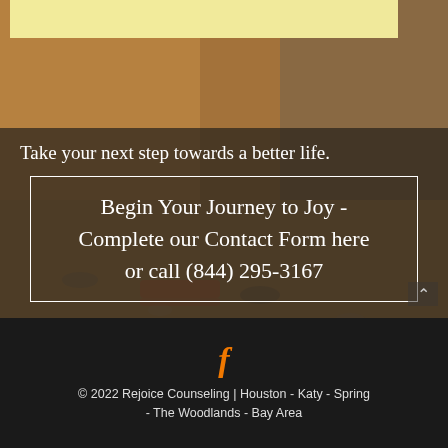[Figure (photo): Warm-toned outdoor photo of a child/person bending down near stones/gravel with sneakers visible, serving as background image]
Take your next step towards a better life.
Begin Your Journey to Joy - Complete our Contact Form here or call (844) 295-3167
© 2022 Rejoice Counseling | Houston - Katy - Spring - The Woodlands - Bay Area